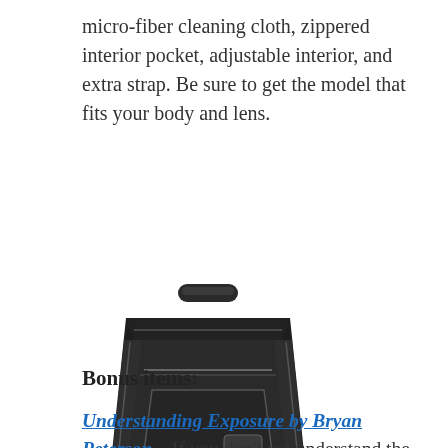micro-fiber cleaning cloth, zippered interior pocket, adjustable interior, and extra strap. Be sure to get the model that fits your body and lens.
[Figure (photo): Black camera bag / holster with handle and shoulder strap, trapezoidal shape with zipper and logo badge]
Bonus items:
Understanding Exposure by Bryan Peterson – If you don't yet understand the relationship